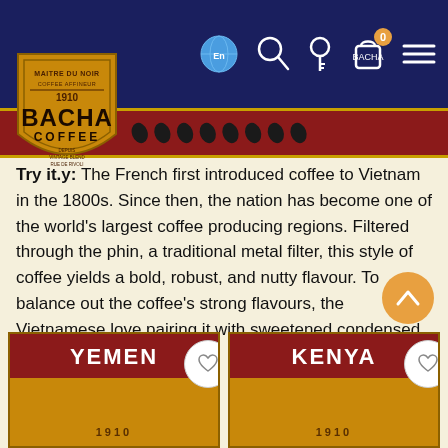[Figure (screenshot): Bacha Coffee website header with dark navy navigation bar containing Bacha Coffee logo, globe/language icon (En), search icon, key icon, cart icon with 0 badge, and hamburger menu]
[Figure (illustration): Dark red decorative strip with coffee bean icons and gold borders]
Try it. The French first introduced coffee to Vietnam in the 1800s. Since then, the nation has become one of the world’s largest coffee producing regions. Filtered through the phin, a traditional metal filter, this style of coffee yields a bold, robust, and nutty flavour. To balance out the coffee’s strong flavours, the Vietnamese love pairing it with sweetened condensed milk.
Try it.
[Figure (screenshot): Bottom section showing two product cards: Yemen and Kenya Bacha Coffee products with heart/wishlist buttons, and an orange scroll-to-top arrow button]